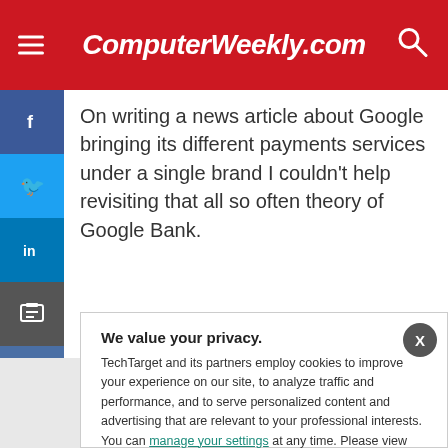ComputerWeekly.com
On writing a news article about Google bringing its different payments services under a single brand I couldn't help revisiting that all so often theory of Google Bank.
We value your privacy. TechTarget and its partners employ cookies to improve your experience on our site, to analyze traffic and performance, and to serve personalized content and advertising that are relevant to your professional interests. You can manage your settings at any time. Please view our Privacy Policy for more information